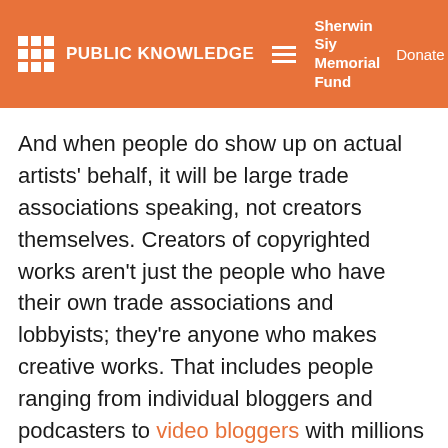PUBLIC KNOWLEDGE | Sherwin Siy Memorial Fund | Donate
And when people do show up on actual artists' behalf, it will be large trade associations speaking, not creators themselves. Creators of copyrighted works aren't just the people who have their own trade associations and lobbyists; they're anyone who makes creative works. That includes people ranging from individual bloggers and podcasters to video bloggers with millions of subscribers, producers of